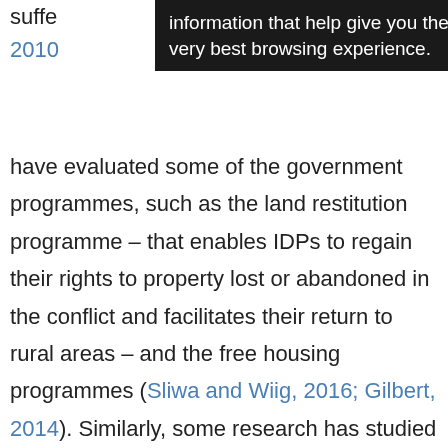suffe... 2010... (partial, obscured by tooltip)
information that help give you the very best browsing experience. (tooltip overlay)
have evaluated some of the government programmes, such as the land restitution programme – that enables IDPs to regain their rights to property lost or abandoned in the conflict and facilitates their return to rural areas – and the free housing programmes (Sliwa and Wiig, 2016; Gilbert, 2014). Similarly, some research has studied the control devices that the government uses to discipline members of this population and strip them of their citizenship – for example, the Single Record